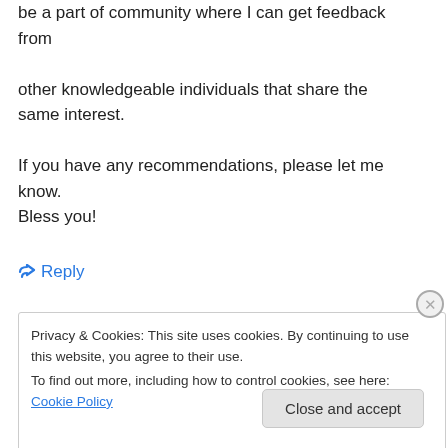be a part of community where I can get feedback from other knowledgeable individuals that share the same interest.

If you have any recommendations, please let me know.
Bless you!
↪ Reply
Privacy & Cookies: This site uses cookies. By continuing to use this website, you agree to their use.
To find out more, including how to control cookies, see here: Cookie Policy

[Close and accept]